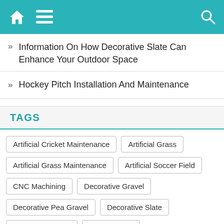Navigation bar with home, menu, and search icons
Information On How Decorative Slate Can Enhance Your Outdoor Space
Hockey Pitch Installation And Maintenance
TAGS
Artificial Cricket Maintenance
Artificial Grass
Artificial Grass Maintenance
Artificial Soccer Field
CNC Machining
Decorative Gravel
Decorative Pea Gravel
Decorative Slate
Email Advertising
Hockey Pitch
Internet Marketing
Landscaping & Building Supplies
leaflet holder
Marketing
Marketing Services
Monaco